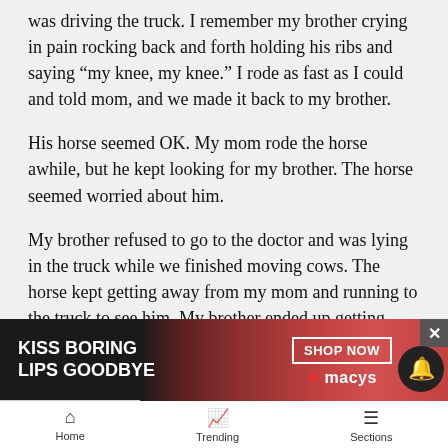was driving the truck. I remember my brother crying in pain rocking back and forth holding his ribs and saying “my knee, my knee.” I rode as fast as I could and told mom, and we made it back to my brother.
His horse seemed OK. My mom rode the horse awhile, but he kept looking for my brother. The horse seemed worried about him.
My brother refused to go to the doctor and was lying in the truck while we finished moving cows. The horse kept getting away from my mom and running to the truck to see him. My brother ended up getting back on the horse and riding home. My brother broke a few ribs that day and tore his knee up pretty bad, but the bond b... and his... ever.
[Figure (infographic): Macy's advertisement banner: KISS BORING LIPS GOODBYE with SHOP NOW button and macys logo, showing a woman's face with red lipstick]
Home   Trending   Sections